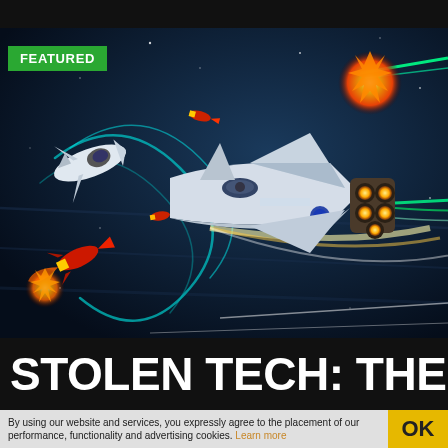[Figure (illustration): Animated/illustrated space battle scene featuring NASA space shuttles firing lasers and rockets with explosions in a dark space background. A green 'FEATURED' badge overlays the top-left corner.]
STOLEN TECH: THE
By using our website and services, you expressly agree to the placement of our performance, functionality and advertising cookies. Learn more